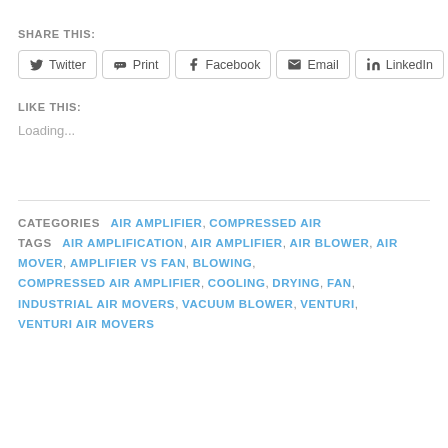SHARE THIS:
Twitter | Print | Facebook | Email | LinkedIn
LIKE THIS:
Loading...
CATEGORIES  AIR AMPLIFIER, COMPRESSED AIR  TAGS  AIR AMPLIFICATION, AIR AMPLIFIER, AIR BLOWER, AIR MOVER, AMPLIFIER VS FAN, BLOWING, COMPRESSED AIR AMPLIFIER, COOLING, DRYING, FAN, INDUSTRIAL AIR MOVERS, VACUUM BLOWER, VENTURI, VENTURI AIR MOVERS